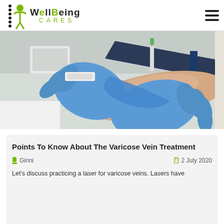WellBeing Cares
[Figure (photo): A medical professional wearing blue latex gloves drawing blood from a patient's arm with a blue tourniquet band applied above the elbow. Various medical supplies visible in background.]
Points To Know About The Varicose Vein Treatment
Ginni   2 July 2020
Let's discuss practicing a laser for varicose veins. Lasers have